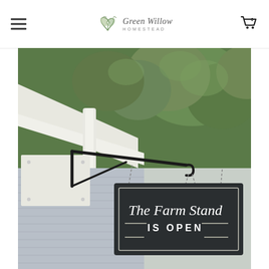Green Willow Homestead — navigation header with hamburger menu and cart icon
[Figure (photo): Photograph of a dark slate-colored hanging sign reading 'The Farm Stand IS OPEN', suspended by a black wrought iron bracket from a white building exterior, with green leafy trees visible in the background.]